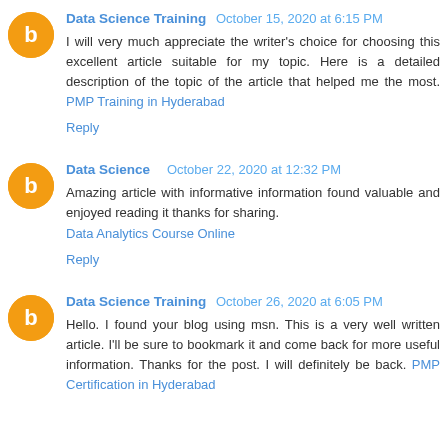Data Science Training  October 15, 2020 at 6:15 PM
I will very much appreciate the writer's choice for choosing this excellent article suitable for my topic. Here is a detailed description of the topic of the article that helped me the most. PMP Training in Hyderabad
Reply
Data Science  October 22, 2020 at 12:32 PM
Amazing article with informative information found valuable and enjoyed reading it thanks for sharing.
Data Analytics Course Online
Reply
Data Science Training  October 26, 2020 at 6:05 PM
Hello. I found your blog using msn. This is a very well written article. I'll be sure to bookmark it and come back for more useful information. Thanks for the post. I will definitely be back. PMP Certification in Hyderabad